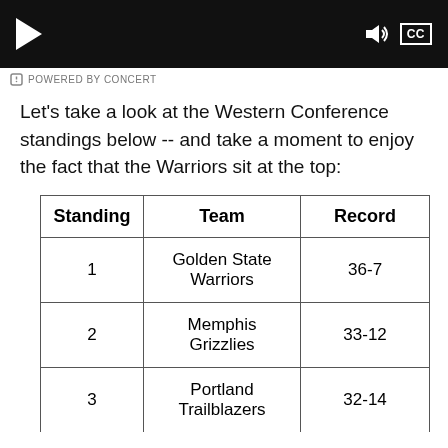[Figure (screenshot): Video player bar with play button, volume icon, and CC button on dark background]
POWERED BY CONCERT
Let's take a look at the Western Conference standings below -- and take a moment to enjoy the fact that the Warriors sit at the top:
| Standing | Team | Record |
| --- | --- | --- |
| 1 | Golden State Warriors | 36-7 |
| 2 | Memphis Grizzlies | 33-12 |
| 3 | Portland Trailblazers | 32-14 |